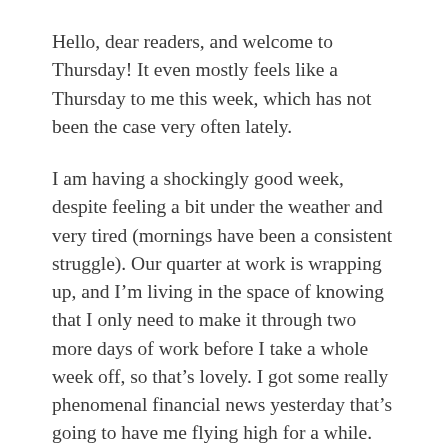Hello, dear readers, and welcome to Thursday! It even mostly feels like a Thursday to me this week, which has not been the case very often lately.
I am having a shockingly good week, despite feeling a bit under the weather and very tired (mornings have been a consistent struggle). Our quarter at work is wrapping up, and I’m living in the space of knowing that I only need to make it through two more days of work before I take a whole week off, so that’s lovely. I got some really phenomenal financial news yesterday that’s going to have me flying high for a while. All-in-all, life is good.
I spent some time earlier this week working on worldbuilding for the D&D campaign I am DMing for some friends (we’ve been on a hiatus for a bit as a bunch